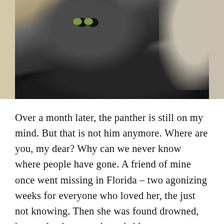[Figure (photo): A large gray cat lying on its back in a relaxed pose, looking directly at the camera with green eyes. The cat has a dark charcoal/blue-gray coat. The background is blurred with warm beige/tan tones.]
Over a month later, the panther is still on my mind. But that is not him anymore. Where are you, my dear? Why can we never know where people have gone. A friend of mine once went missing in Florida – two agonizing weeks for everyone who loved her, the just not knowing. Then she was found drowned, her car having overshot a bridge